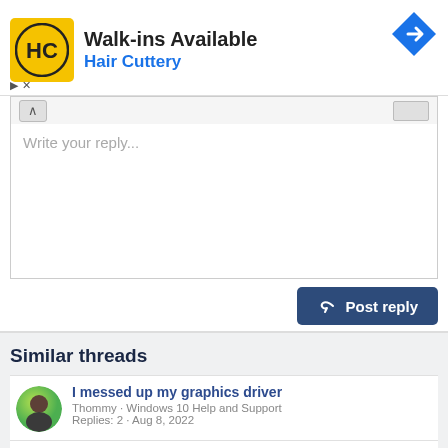[Figure (other): Hair Cuttery advertisement banner with HC logo and navigation arrow icon. Text: Walk-ins Available, Hair Cuttery]
Write your reply...
Post reply
Similar threads
I messed up my graphics driver
Thommy · Windows 10 Help and Support
Replies: 2 · Aug 8, 2022
Releasing Windows 11 Build 22000.917 to the Release Preview Channel
News · Live RSS Feeds